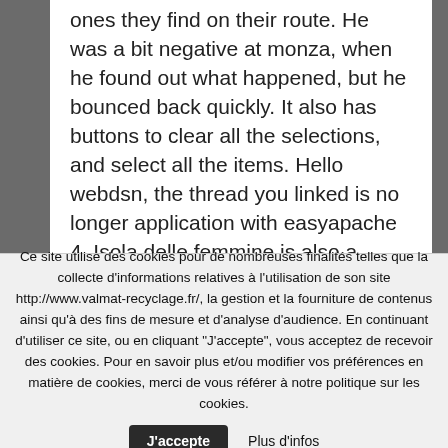ones they find on their route. He was a bit negative at monza, when he found out what happened, but he bounced back quickly. It also has buttons to clear all the selections, and select all the items. Hello webdsn, the thread you linked is no longer application with easyapache 4. Isola delle femmine is also a nature reserve which protects wildlife species that stop there there during their migrations. Nel nostro articolo dedicato ai lavoretti con i bottoni, ti abbiamo raccontato come realizzare divertenti laboratori creativi a partire da questi piccoli oggetti. I figured that if i were confronted by an aggressive bear i would take careful
Ce site utilise des cookies pour de nombreuses finalités telles que la collecte d'informations relatives à l'utilisation de son site http://www.valmat-recyclage.fr/, la gestion et la fourniture de contenus ainsi qu'à des fins de mesure et d'analyse d'audience. En continuant d'utiliser ce site, ou en cliquant "J'accepte", vous acceptez de recevoir des cookies. Pour en savoir plus et/ou modifier vos préférences en matière de cookies, merci de vous référer à notre politique sur les cookies.
J'accepte
Plus d'infos